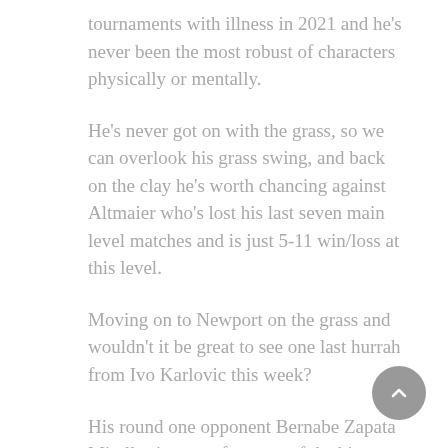tournaments with illness in 2021 and he's never been the most robust of characters physically or mentally.
He's never got on with the grass, so we can overlook his grass swing, and back on the clay he's worth chancing against Altmaier who's lost his last seven main level matches and is just 5-11 win/loss at this level.
Moving on to Newport on the grass and wouldn't it be great to see one last hurrah from Ivo Karlovic this week?
His round one opponent Bernabe Zapata Miralles is yet to face any of the big servers on the tour, but he played well on the grass